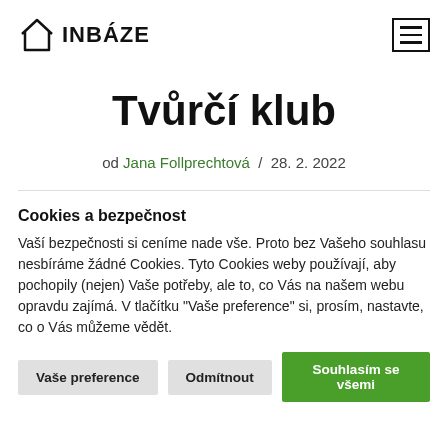INBÁZE
Tvůrčí klub
od Jana Follprechtová / 28. 2. 2022
Cookies a bezpečnost
Vaší bezpečnosti si ceníme nade vše. Proto bez Vašeho souhlasu nesbíráme žádné Cookies. Tyto Cookies weby používají, aby pochopily (nejen) Vaše potřeby, ale to, co Vás na našem webu opravdu zajímá. V tlačítku "Vaše preference" si, prosím, nastavte, co o Vás můžeme vědět.
Vaše preference
Odmítnout
Souhlasím se všemi